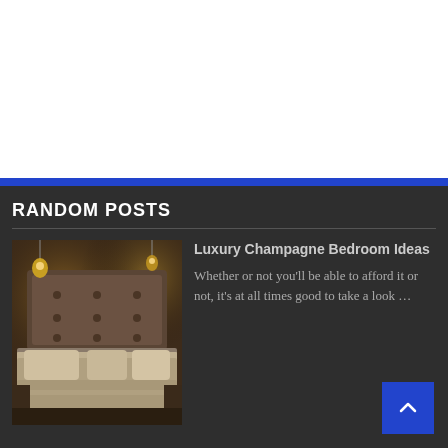RANDOM POSTS
[Figure (photo): Luxury champagne bedroom with tufted headboard, layered neutral bedding, and warm ambient lighting from decorative pendant lights]
Luxury Champagne Bedroom Ideas Whether or not you'll be able to afford it or not, it's at all times good to take a look …